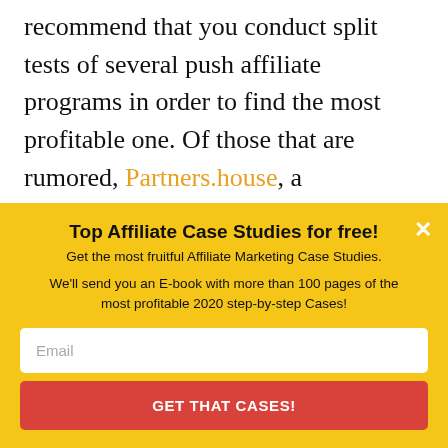...if you want to get the most out of your traffic, we recommend that you conduct split tests of several push affiliate programs in order to find the most profitable one. Of those that are rumored, Partners.house, a partnership program of the Push.house network, which we did previously, is making a bold statement about themselves. Partners.house team claims that the revenue in...
Top Affiliate Case Studies for free!
Get the most fruitful Affiliate Marketing Case Studies.
We'll send you an E-book with more than 100 pages of the most profitable 2020 step-by-step Cases!
Email
GET THAT CASES!